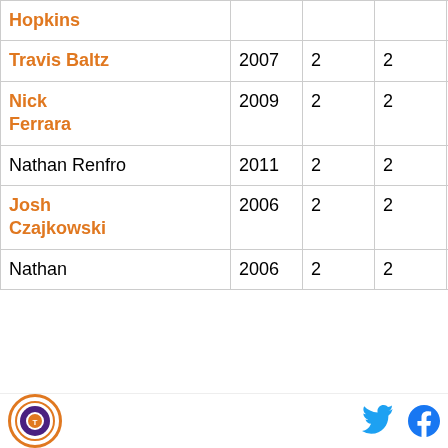| Name | Year |  |  | School | Location |
| --- | --- | --- | --- | --- | --- |
| Hopkins |  |  |  |  |  |
| Travis Baltz | 2007 | 2 | 2 | Anthony Wayne HS | Whitehouse, OH |
| Nick Ferrara | 2009 | 2 | 2 | St. Anthony's HS | Melville, NY |
| Nathan Renfro | 2011 | 2 | 2 | Brentwood Academy | Brentwood, TN |
| Josh Czajkowski | 2006 | 2 | 2 | West Springfield HS | Springfield, VA |
| Nathan | 2006 | 2 | 2 | John T. | Wilmington |
Logo | Twitter | Facebook